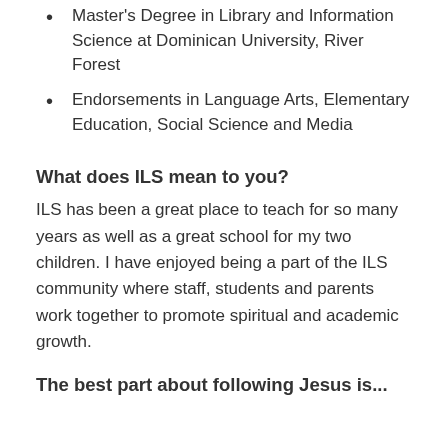Master's Degree in Library and Information Science at Dominican University, River Forest
Endorsements in Language Arts, Elementary Education, Social Science and Media
What does ILS mean to you?
ILS has been a great place to teach for so many years as well as a great school for my two children. I have enjoyed being a part of the ILS community where staff, students and parents work together to promote spiritual and academic growth.
The best part about following Jesus is...